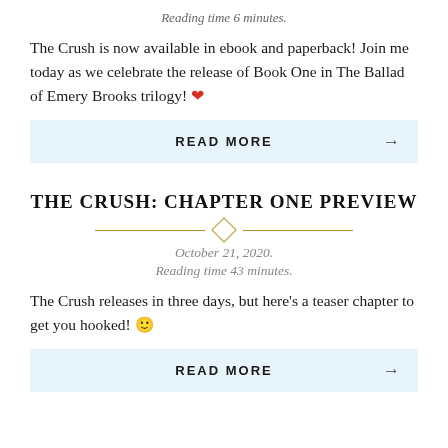Reading time 6 minutes.
The Crush is now available in ebook and paperback! Join me today as we celebrate the release of Book One in The Ballad of Emery Brooks trilogy! ❤
READ MORE →
THE CRUSH: CHAPTER ONE PREVIEW
October 21, 2020.
Reading time 43 minutes.
The Crush releases in three days, but here's a teaser chapter to get you hooked! 🙂
READ MORE →